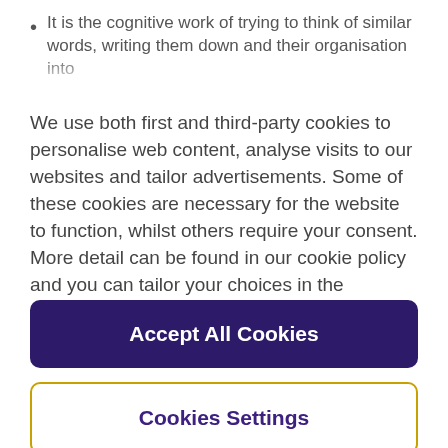It is the cognitive work of trying to think of similar words, writing them down and their organisation into
We use both first and third-party cookies to personalise web content, analyse visits to our websites and tailor advertisements. Some of these cookies are necessary for the website to function, whilst others require your consent. More detail can be found in our cookie policy and you can tailor your choices in the preference centre.
Accept All Cookies
Cookies Settings